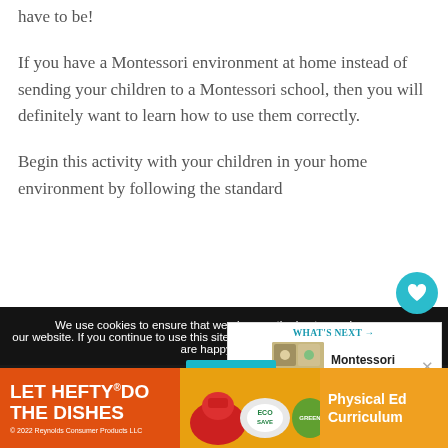have to be!
If you have a Montessori environment at home instead of sending your children to a Montessori school, then you will definitely want to learn how to use them correctly.
Begin this activity with your children in your home environment by following the standard
We use cookies to ensure that we give you the best experience on our website. If you continue to use this site we will assume that you are happy with it.
[Figure (screenshot): WHAT'S NEXT arrow label with thumbnail image and text Montessori Holiday...]
[Figure (screenshot): Ad banner: LET HEFTY DO THE DISHES with product images and Physical Ed Curriculum text]